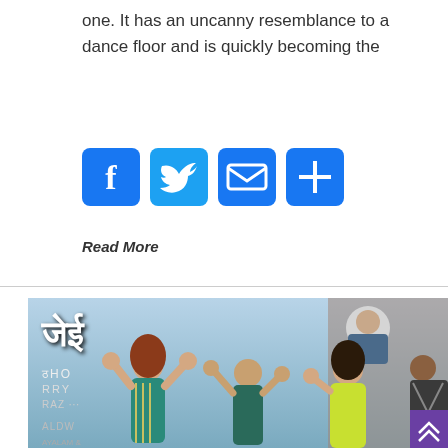one. It has an uncanny resemblance to a dance floor and is quickly becoming the
[Figure (infographic): Social share buttons: Facebook (blue F icon), Twitter (blue bird icon), Email (blue envelope icon), Share/plus (blue plus icon)]
Read More
[Figure (photo): Photo of Bollywood actors dancing at what appears to be a movie promotional event. A woman in a teal sequined dress and a man in a dark teal kurta are clapping/dancing. Another woman in a yellow dress stands nearby. A fourth person in a patterned shirt is visible at the right edge. Behind them is a movie poster with Hindi text and an action scene. A purple scroll-to-top button is visible at the bottom right.]